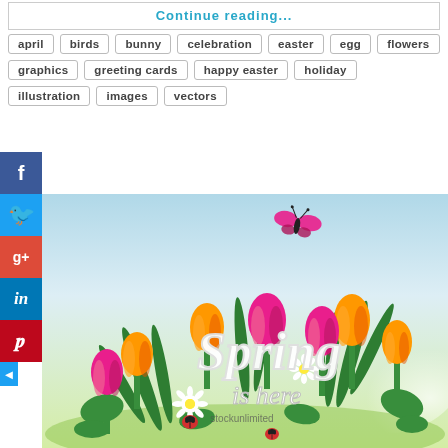Continue reading...
april
birds
bunny
celebration
easter
egg
flowers
graphics
greeting cards
happy easter
holiday
illustration
images
vectors
[Figure (illustration): Spring is here floral illustration with tulips, daisies, butterflies, ladybugs and green leaves. Text reads 'Spring is here' with StockUnlimited watermark.]